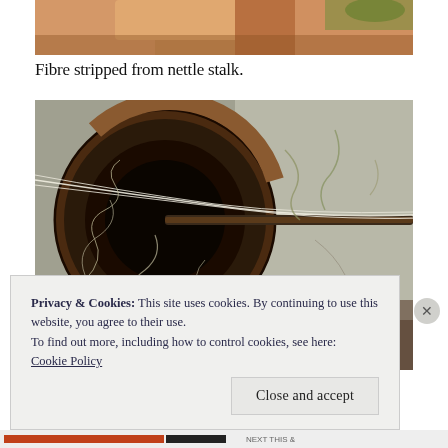[Figure (photo): Close-up photo of a hand or fingers near nettle fibre, cropped at top]
Fibre stripped from nettle stalk.
[Figure (photo): Close-up photo of nettle fibres being processed on a spinning wheel or tool, showing thin white fibres against a dark wooden circular object]
Privacy & Cookies: This site uses cookies. By continuing to use this website, you agree to their use.
To find out more, including how to control cookies, see here:
Cookie Policy
Close and accept